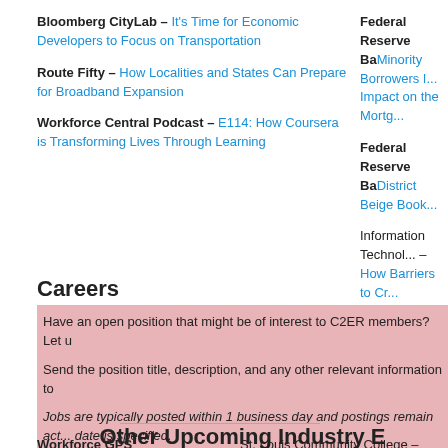Bloomberg CityLab – It's Time for Economic Developers to Focus on Transportation
Route Fifty – How Localities and States Can Prepare for Broadband Expansion
Workforce Central Podcast – E114: How Coursera is Transforming Lives Through Learning
Federal Reserve Ba... Minority Borrowers ... Impact on the Mortg...
Federal Reserve Ba... District Beige Book...
Information Technol... – How Barriers to Cr... Spreading Globally, ... Address Them
World Economic For... Shows Opinions Abe...
Careers
Have an open position that might be of interest to C2ER members? Let u...
Send the position title, description, and any other relevant information to...
Jobs are typically posted within 1 business day and postings remain act... date is specified.
Other Upcoming Industry E...
Workforce GPS
St. Louis Community College – Bl...